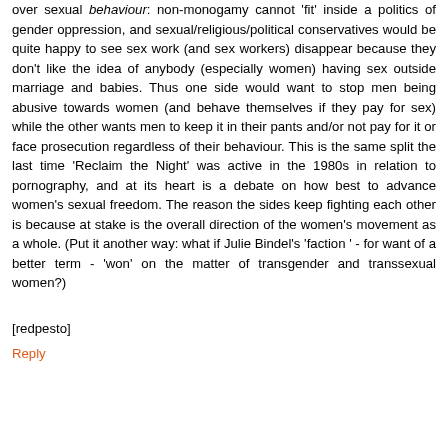over sexual behaviour: non-monogamy cannot 'fit' inside a politics of gender oppression, and sexual/religious/political conservatives would be quite happy to see sex work (and sex workers) disappear because they don't like the idea of anybody (especially women) having sex outside marriage and babies. Thus one side would want to stop men being abusive towards women (and behave themselves if they pay for sex) while the other wants men to keep it in their pants and/or not pay for it or face prosecution regardless of their behaviour. This is the same split the last time 'Reclaim the Night' was active in the 1980s in relation to pornography, and at its heart is a debate on how best to advance women's sexual freedom. The reason the sides keep fighting each other is because at stake is the overall direction of the women's movement as a whole. (Put it another way: what if Julie Bindel's 'faction ' - for want of a better term - 'won' on the matter of transgender and transsexual women?)
[redpesto]
Reply